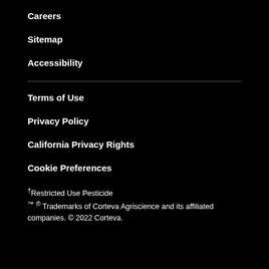Careers
Sitemap
Accessibility
Terms of Use
Privacy Policy
California Privacy Rights
Cookie Preferences
†Restricted Use Pesticide
™ ® Trademarks of Corteva Agriscience and its affiliated companies. © 2022 Corteva.